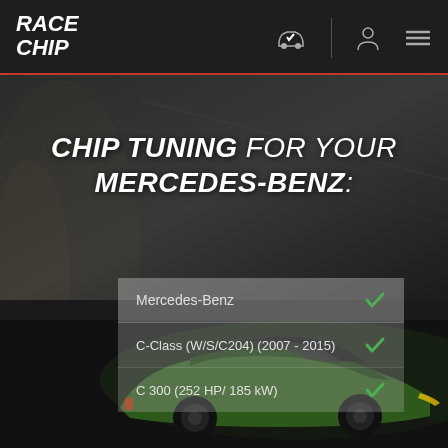RACE CHIP
CHIP TUNING FOR YOUR MERCEDES-BENZ:
Mercedes-Benz ✓
C-Class (W/S/C204) (2007 - 2015) ✓
C 300 (252 HP/ 185 kW) ✓